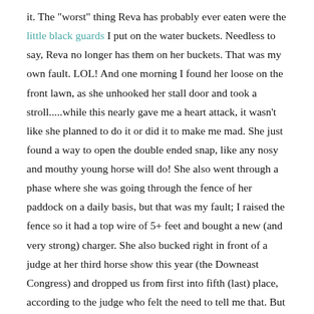it.  The "worst" thing Reva has probably ever eaten were the little black guards I put on the water buckets.  Needless to say, Reva no longer has them on her buckets.  That was my own fault.  LOL!  And one morning I found her loose on the front lawn, as she unhooked her stall door and took a stroll.....while this nearly gave me a heart attack, it wasn't like she planned to do it or did it to make me mad.  She just found a way to open the double ended snap, like any nosy and mouthy young horse will do!  She also went through a phase where she was going through the fence of her paddock on a daily basis, but that was my fault; I raised the fence so it had a top wire of 5+ feet and bought a new (and very strong) charger.  She also bucked right in front of a judge at her third horse show this year (the Downeast Congress) and dropped us from first into fifth (last) place, according to the judge who felt the need to tell me that.  But in all reality, any of her "worst" behavior are just baby moments.  She is a very good girl who tries hard